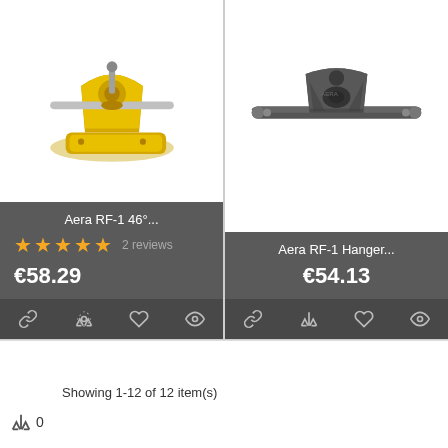[Figure (photo): Gold skateboard truck (Aera RF-1 46°) on white background]
Aera RF-1 46°...
★★★★★ 2 reviews
€58.29
[Figure (photo): Dark/black skateboard truck hanger (Aera RF-1 Hanger) on white background]
Aera RF-1 Hanger...
€54.13
Showing 1-12 of 12 item(s)
0